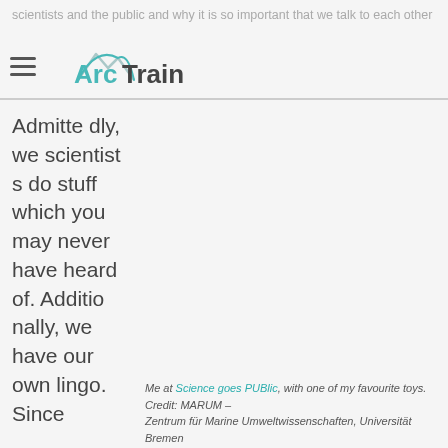scientists and the public and why it is so important that we talk to each other
Admittedly, we scientists do stuff which you may never have heard of. Additionally, we have our own lingo. Since
Me at Science goes PUBlic, with one of my favourite toys. Credit: MARUM – Zentrum für Marine Umweltwissenschaften, Universität Bremen